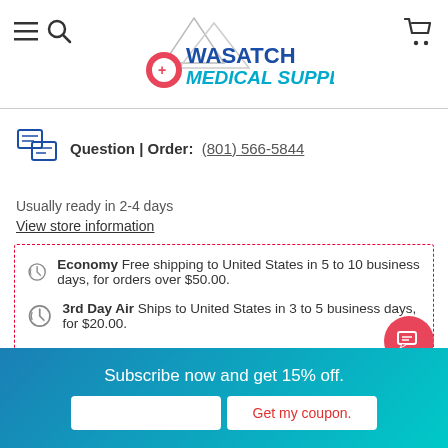[Figure (logo): Wasatch Medical Supply logo with mountain peaks and red location pin with cross]
Question | Order: (801) 566-5844
Usually ready in 2-4 days
View store information
Economy Free shipping to United States in 5 to 10 business days, for orders over $50.00.
3rd Day Air Ships to United States in 3 to 5 business days, for $20.00.
▼ See all shipping options
Subscribe now and get 15% off.
Get my coupon.